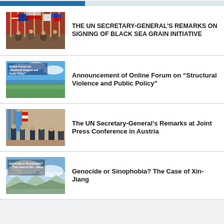[Figure (photo): Blue header bar with darker blue accent strip at top left]
[Figure (photo): Photo of diplomats at a signing ceremony with flags of Russia, Turkey, and Ukraine]
THE UN SECRETARY-GENERAL'S REMARKS ON SIGNING OF BLACK SEA GRAIN INITIATIVE
[Figure (photo): Aerial photo of river and green landscape with Online Forum on Structural Violence and Public Policy text overlay]
Announcement of Online Forum on “Structural Violence and Public Policy”
[Figure (photo): Indoor photo with UN flags and people at a press conference in Austria]
The UN Secretary-General’s Remarks at Joint Press Conference in Austria
[Figure (photo): Sky and mountains photo with text Genocide or Sinophobia? The Case of Xin-Jiang]
Genocide or Sinophobia? The Case of Xin-Jiang